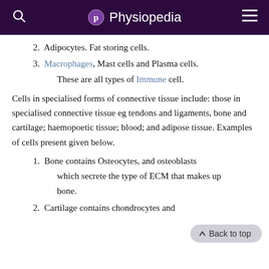Physiopedia
2. Adipocytes. Fat storing cells.
3. Macrophages, Mast cells and Plasma cells. These are all types of Immune cell.
Cells in specialised forms of connective tissue include: those in specialised connective tissue eg tendons and ligaments, bone and cartilage; haemopoetic tissue; blood; and adipose tissue. Examples of cells present given below.
1. Bone contains Osteocytes, and osteoblasts which secrete the type of ECM that makes up bone.
2. Cartilage contains chondrocytes and